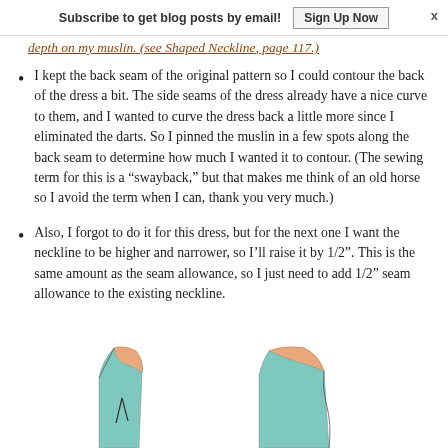Subscribe to get blog posts by email!  Sign Up Now  x
depth on my muslin. (see Shaped Neckline, page 117.)
I kept the back seam of the original pattern so I could contour the back of the dress a bit. The side seams of the dress already have a nice curve to them, and I wanted to curve the dress back a little more since I eliminated the darts. So I pinned the muslin in a few spots along the back seam to determine how much I wanted it to contour. (The sewing term for this is a “swayback,” but that makes me think of an old horse so I avoid the term when I can, thank you very much.)
Also, I forgot to do it for this dress, but for the next one I want the neckline to be higher and narrower, so I’ll raise it by 1/2”. This is the same amount as the seam allowance, so I just need to add 1/2” seam allowance to the existing neckline.
[Figure (illustration): Two sewing pattern pieces (bodice front/back) shown in teal/mint color with peach/orange seam allowance trim along neckline edges, partially visible at bottom of page.]